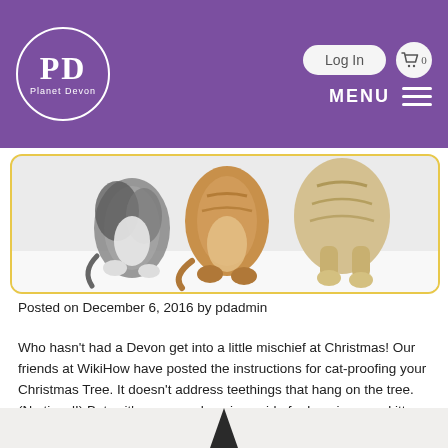[Figure (logo): Planet Devon logo: white circle with PD initials and Planet Devon text on purple background header]
[Figure (photo): Three cats (Devon Rex) photographed from behind showing their backs and paws, inside a yellow-bordered rounded rectangle]
Posted on December 6, 2016 by pdadmin
Who hasn't had a Devon get into a little mischief at Christmas! Our friends at WikiHow have posted the instructions for cat-proofing your Christmas Tree. It doesn't address teethings that hang on the tree. (No tinsel!) But… it's a comprehensive guide for keeping your kitty safe and your tree gorgeous!
[Figure (photo): Bottom portion of an image showing a dark triangular Christmas tree shape on light background, partially visible]